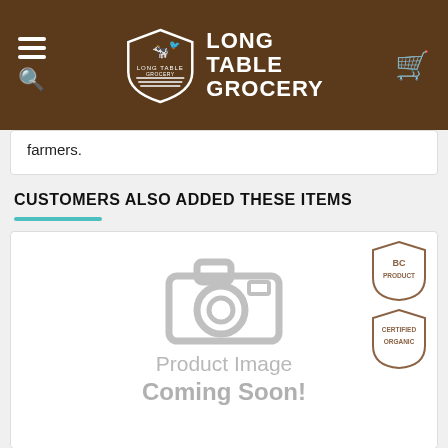Long Table Grocery
farmers.
CUSTOMERS ALSO ADDED THESE ITEMS
[Figure (photo): Product image placeholder with camera icon and text 'Product Image Coming Soon!' with BC Product and Certified Organic badges]